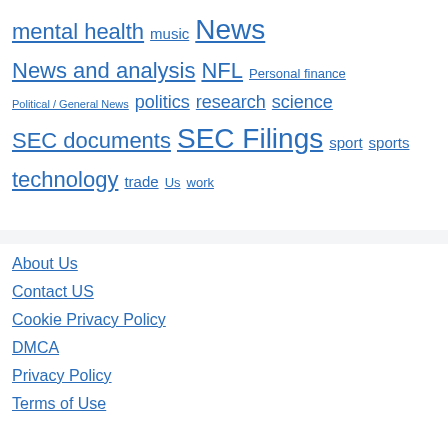mental health
music
News
News and analysis
NFL
Personal finance
Political / General News
politics
research
science
SEC documents
SEC Filings
sport
sports
technology
trade
Us
work
About Us
Contact US
Cookie Privacy Policy
DMCA
Privacy Policy
Terms of Use